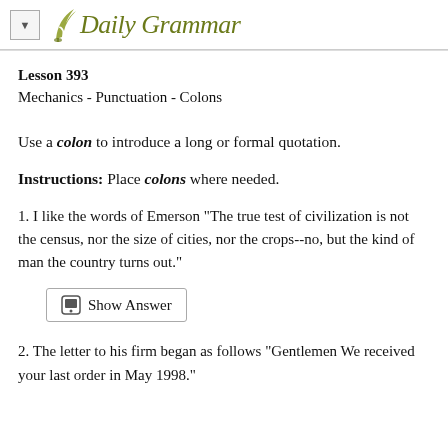Daily Grammar
Lesson 393
Mechanics - Punctuation - Colons
Use a colon to introduce a long or formal quotation.
Instructions: Place colons where needed.
1. I like the words of Emerson "The true test of civilization is not the census, nor the size of cities, nor the crops--no, but the kind of man the country turns out."
2. The letter to his firm began as follows "Gentlemen We received your last order in May 1998."